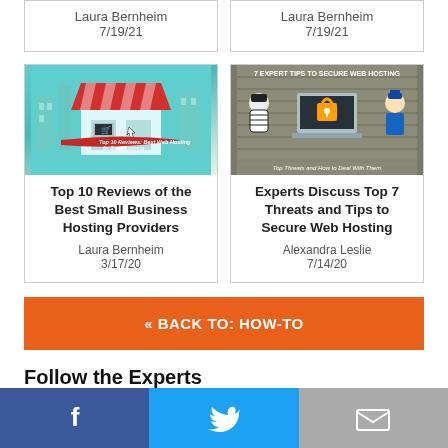[Figure (screenshot): Top two article cards showing author Laura Bernheim, date 7/19/21]
[Figure (illustration): Shop storefront illustration for Top 10 Reviews of the Best Small Business Hosting Providers]
Top 10 Reviews of the Best Small Business Hosting Providers
Laura Bernheim
3/17/20
[Figure (illustration): Security themed illustration: 7 EXPERT TIPS TO SECURE WEB HOSTING - Top Threats and How to Deal With Them]
Experts Discuss Top 7 Threats and Tips to Secure Web Hosting
Alexandra Leslie
7/14/20
« BACK TO: HOW-TO
Follow the Experts
[Figure (infographic): Social share bar with Facebook, Twitter, and Email icons]